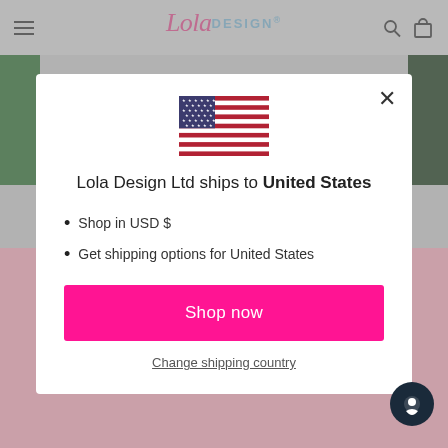[Figure (screenshot): Lola Design website header with hamburger menu, logo, search and cart icons on grey background]
[Figure (screenshot): Modal popup showing US flag, shipping message, bullet points about USD and shipping options, Shop now button, and Change shipping country link]
Lola Design Ltd ships to United States
Shop in USD $
Get shipping options for United States
Shop now
Change shipping country